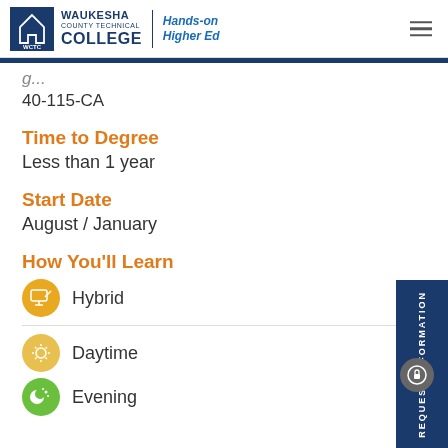WCTC Waukesha County Technical College — Hands-on Higher Ed
40-115-CA
Time to Degree
Less than 1 year
Start Date
August / January
How You'll Learn
Hybrid
Daytime
Evening